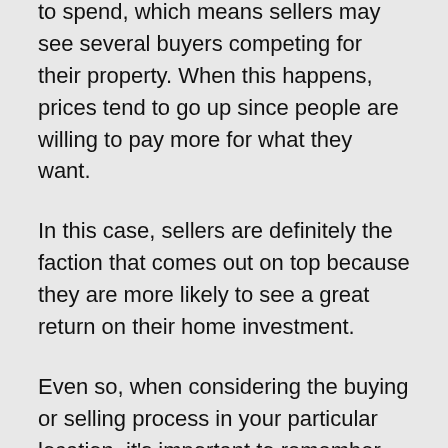to spend, which means sellers may see several buyers competing for their property. When this happens, prices tend to go up since people are willing to pay more for what they want.
In this case, sellers are definitely the faction that comes out on top because they are more likely to see a great return on their home investment.
Even so, when considering the buying or selling process in your particular location, it's important to remember that there may be fluctuation within the same state—or even the same county—which is worth thinking about if you're considering a relocation. In other words, while your current home may be listed in a so-called "buyer's market," the area where you'd like to move may be considered a "seller's market." When this happens, you may wind up paying more money than if you were to sell your home at an advantage and buy in a location where